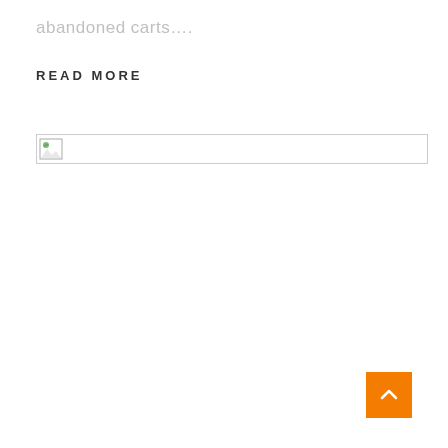abandoned carts….
READ MORE
[Figure (other): Broken/unloaded image placeholder with icon]
[Figure (other): Orange back-to-top button with upward chevron arrow]